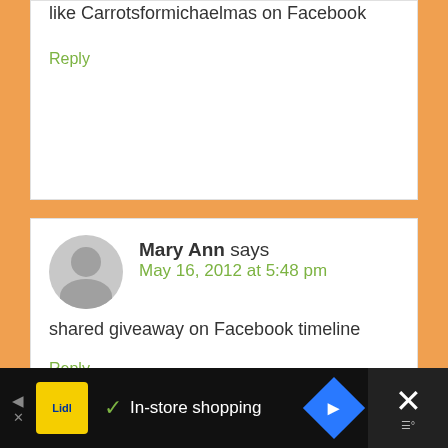like Carrotsformichaelmas on Facebook
Reply
Mary Ann says
May 16, 2012 at 5:48 pm
shared giveaway on Facebook timeline
Reply
Molly Makes Do says
[Figure (screenshot): Advertisement bar: Lidl in-store shopping ad with navigation icon and close button]